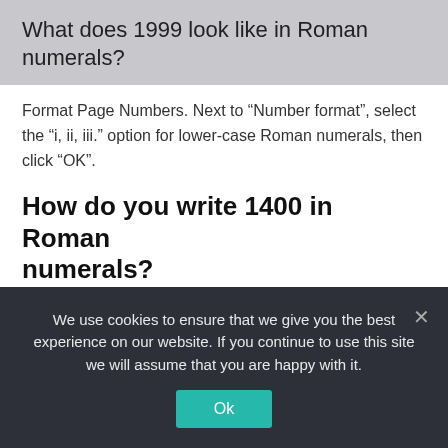What does 1999 look like in Roman numerals?
Format Page Numbers. Next to “Number format”, select the “i, ii, iii.” option for lower-case Roman numerals, then click “OK”.
How do you write 1400 in Roman numerals?
Roman Numerals: 1400 = MCD.
How do you write years in Roman numerals?
We use cookies to ensure that we give you the best experience on our website. If you continue to use this site we will assume that you are happy with it.